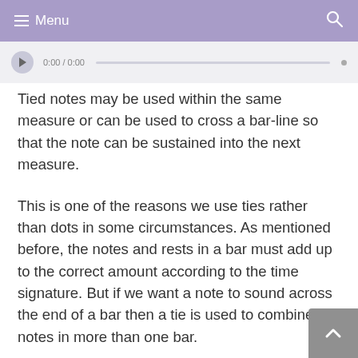Menu
[Figure (screenshot): Audio player bar showing playback controls and a time code (0:00 / 0:00) with a waveform or progress bar]
Tied notes may be used within the same measure or can be used to cross a bar-line so that the note can be sustained into the next measure.
This is one of the reasons we use ties rather than dots in some circumstances. As mentioned before, the notes and rests in a bar must add up to the correct amount according to the time signature. But if we want a note to sound across the end of a bar then a tie is used to combine notes in more than one bar.
This may sound a bit confusing so here’s an example. Listen to these two bars of music